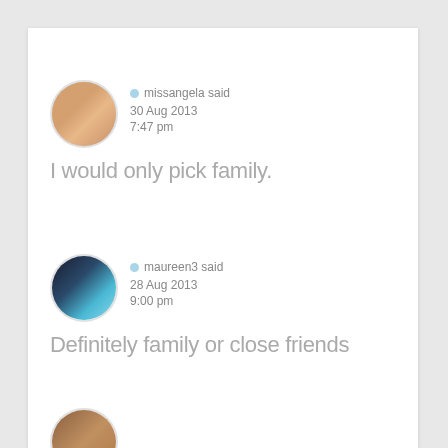missangela said
30 Aug 2013
7:47 pm
I would only pick family.
maureen3 said
28 Aug 2013
9:00 pm
Definitely family or close friends